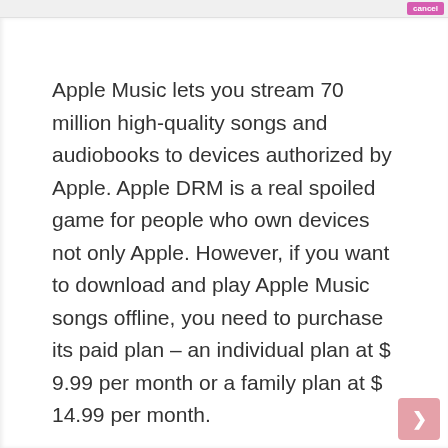cancel
Apple Music lets you stream 70 million high-quality songs and audiobooks to devices authorized by Apple. Apple DRM is a real spoiled game for people who own devices not only Apple. However, if you want to download and play Apple Music songs offline, you need to purchase its paid plan – an individual plan at $ 9.99 per month or a family plan at $ 14.99 per month.
The scary thing is that when you cancel your subscription, all downloaded songs and audiobooks will not be playable and you will no longer be able to access them. Even if you